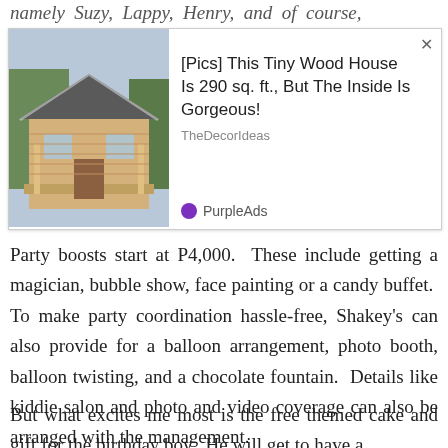namely Suzy, Lappy, Henry, and of course,
[Figure (photo): Advertisement showing a tiny wood house with log cabin exterior and text: '[Pics] This Tiny Wood House Is 290 sq. ft., But The Inside Is Gorgeous!' from TheDecorIdeas, branded by PurpleAds]
Party boosts start at P4,000. These include getting a magician, bubble show, face painting or a candy buffet. To make party coordination hassle-free, Shakey's can also provide for a balloon arrangement, photo booth, balloon twisting, and a chocolate fountain. Details like kiddie salon and photo and video coverage can also be arranged with the management.
But what excites me most is the free themed cake and gift for the birthday boy. He will get to have a